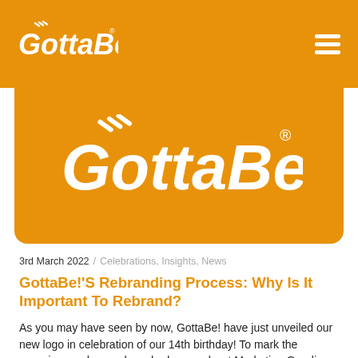GottaBe! [logo] [hamburger menu]
[Figure (logo): GottaBe! logo large, white text on orange background, centered in hero section]
3rd March 2022 / Celebrations, Insights, News
GottaBe!'S Rebranding Process: Why Is It Important To Rebrand?
As you may have seen by now, GottaBe! have just unveiled our new logo in celebration of our 14th birthday! To mark the occasion, we have relaunched our podcast Marketing Goodies....